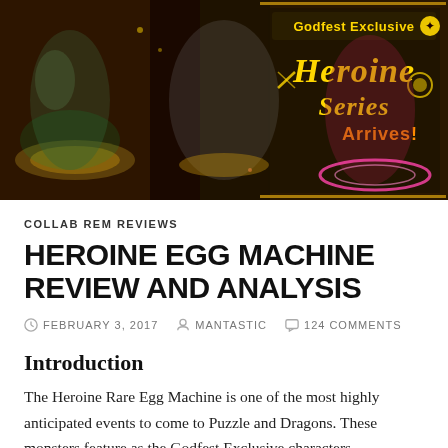[Figure (illustration): Heroine Series promotional banner for Puzzle and Dragons showing anime-style female characters on dark fantasy backgrounds with text 'Godfest Exclusive Heroine Series Arrives!']
COLLAB REM REVIEWS
HEROINE EGG MACHINE REVIEW AND ANALYSIS
FEBRUARY 3, 2017  MANTASTIC  124 COMMENTS
Introduction
The Heroine Rare Egg Machine is one of the most highly anticipated events to come to Puzzle and Dragons. These monsters feature as the Godfest Exclusive characters